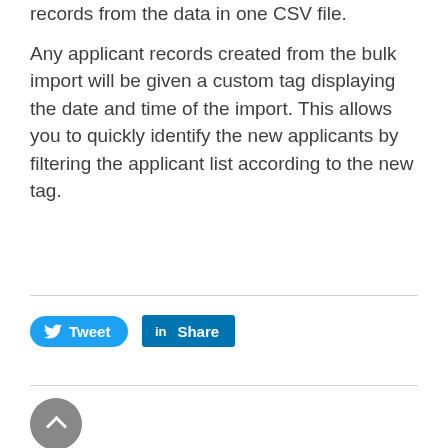records from the data in one CSV file.
Any applicant records created from the bulk import will be given a custom tag displaying the date and time of the import. This allows you to quickly identify the new applicants by filtering the applicant list according to the new tag.
[Figure (other): Social sharing buttons: Tweet (Twitter) and Share (LinkedIn)]